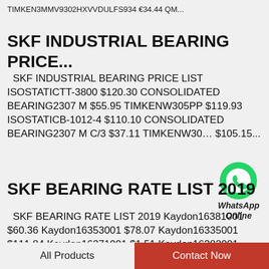TIMKEN3MMV9302HXVVDULFS934 €34.44 QM...
SKF INDUSTRIAL BEARING PRICE...
SKF INDUSTRIAL BEARING PRICE LIST ISOSTATICTT-3800 $120.30 CONSOLIDATED BEARING2307 M $55.95 TIMKENW305PP $119.93 ISOSTATICB-1012-4 $110.10 CONSOLIDATED BEARING2307 M C/3 $37.11 TIMKENW30... $105.15...
[Figure (logo): WhatsApp green circle logo icon with italic bold text 'WhatsApp Online' below]
SKF BEARING RATE LIST 2019
SKF BEARING RATE LIST 2019 Kaydon16381001 $60.36 Kaydon16353001 $78.07 Kaydon16335001 $111.84 Kaydon16271001 $1.51 Kaydon16382001 $159.40 Kaydon16354001 $166.09 Kaydon16326001
All Products   Contact Now